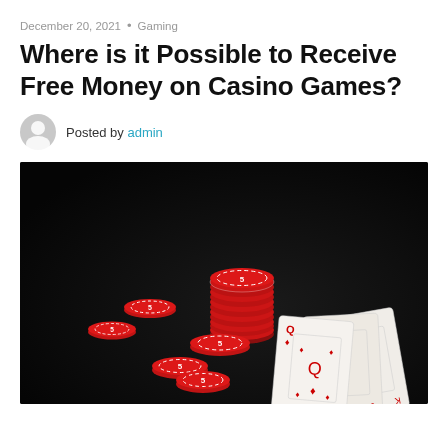December 20, 2021 • Gaming
Where is it Possible to Receive Free Money on Casino Games?
Posted by admin
[Figure (photo): Casino chips (red, stacked and scattered) and three playing cards (Queen, Jack, King of diamonds) on a dark black background]